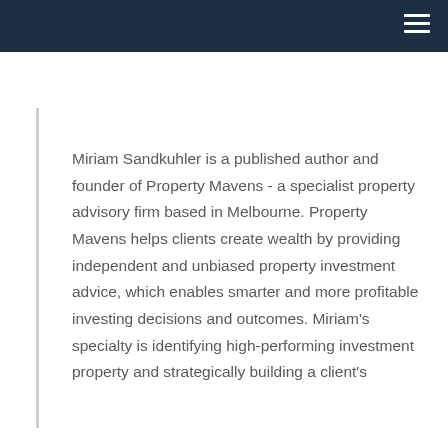Miriam Sandkuhler is a published author and founder of Property Mavens - a specialist property advisory firm based in Melbourne. Property Mavens helps clients create wealth by providing independent and unbiased property investment advice, which enables smarter and more profitable investing decisions and outcomes. Miriam's specialty is identifying high-performing investment property and strategically building a client's